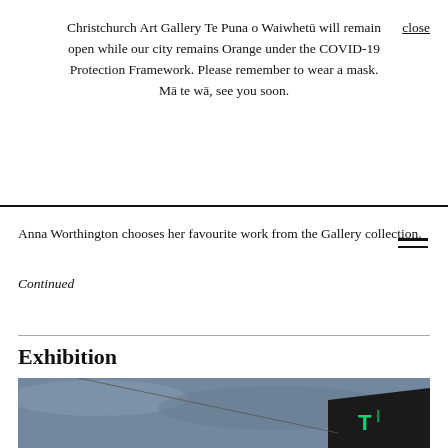Christchurch Art Gallery Te Puna o Waiwhetū will remain open while our city remains Orange under the COVID-19 Protection Framework. Please remember to wear a mask. Mā te wā, see you soon.
close
Anna Worthington chooses her favourite work from the Gallery collection.
Continued
Exhibition
[Figure (photo): Photograph of a building at dusk or twilight with green neon letters visible on its corner against a blue-grey cloudy sky.]